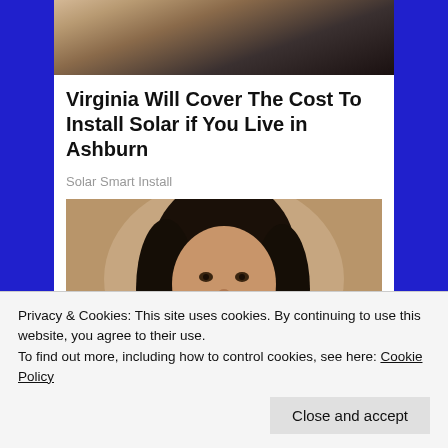[Figure (photo): Partial top photo showing microphones and a person, cropped at top of card]
Virginia Will Cover The Cost To Install Solar if You Live in Ashburn
Solar Smart Install
[Figure (photo): Woman with dark hair holding several newborn babies]
Privacy & Cookies: This site uses cookies. By continuing to use this website, you agree to their use.
To find out more, including how to control cookies, see here: Cookie Policy
Close and accept